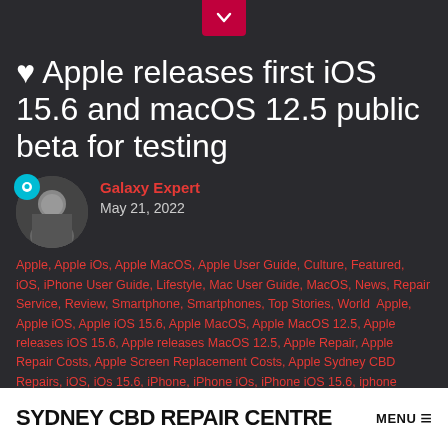[Figure (other): Red chevron/down-arrow button centered at top of dark header bar]
♥ Apple releases first iOS 15.6 and macOS 12.5 public beta for testing
Galaxy Expert
May 21, 2022
Apple, Apple iOs, Apple MacOS, Apple User Guide, Culture, Featured, iOS, iPhone User Guide, Lifestyle, Mac User Guide, MacOS, News, Repair Service, Review, Smartphone, Smartphones, Top Stories, World  Apple, Apple iOS, Apple iOS 15.6, Apple MacOS, Apple MacOS 12.5, Apple releases iOS 15.6, Apple releases MacOS 12.5, Apple Repair, Apple Repair Costs, Apple Screen Replacement Costs, Apple Sydney CBD Repairs, iOS, iOs 15.6, iPhone, iPhone iOs, iPhone iOS 15.6, iphone repair, iPhone Repair Costs, iPhone Screen Replacement Costs, iPhone Sydney CBD Repairs, Mac, Mac Repair, Mac Sydney CBD Repairs, MacOS, Mac OS ...
SYDNEY CBD REPAIR CENTRE  MENU  ≡